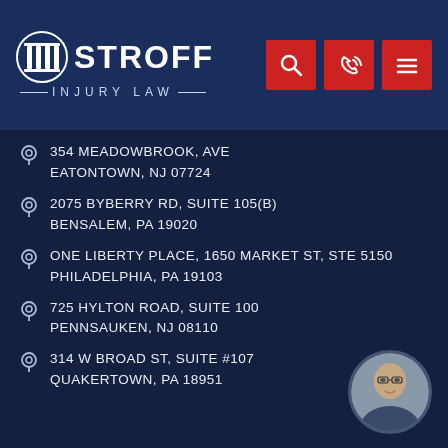[Figure (logo): Stroff Injury Law logo with column icon and white text on dark blue header, plus red navigation icon buttons for search, phone, and menu]
354 MEADOWBROOK, AVE EATONTOWN, NJ 07724
2075 BYBERRY RD, SUITE 105(B) BENSALEM, PA 19020
ONE LIBERTY PLACE, 1650 MARKET ST, STE 5150 PHILADELPHIA, PA 19103
725 HYLTON ROAD, SUITE 100 PENNSAUKEN, NJ 08110
314 W BROAD ST, SUITE #107 QUAKERTOWN, PA 18951
[Figure (photo): Circular portrait photo of a man in glasses and suit jacket, positioned bottom right]